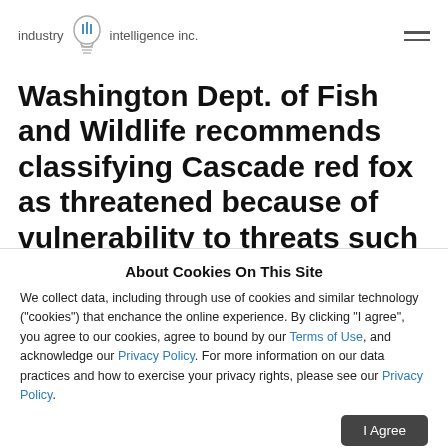industry iii intelligence inc.
Washington Dept. of Fish and Wildlife recommends classifying Cascade red fox as threatened because of vulnerability to threats such as climate change, small
About Cookies On This Site
We collect data, including through use of cookies and similar technology ("cookies") that enchance the online experience. By clicking "I agree", you agree to our cookies, agree to bound by our Terms of Use, and acknowledge our Privacy Policy. For more information on our data practices and how to exercise your privacy rights, please see our Privacy Policy.